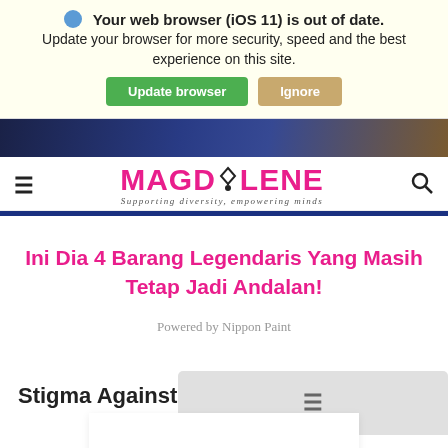[Figure (screenshot): Browser update warning banner with iOS 11 out of date message, update browser and ignore buttons]
MAGDALENE — Supporting diversity, empowering minds
Ini Dia 4 Barang Legendaris Yang Masih Tetap Jadi Andalan!
Powered by Nippon Paint
Stigma Against Victim